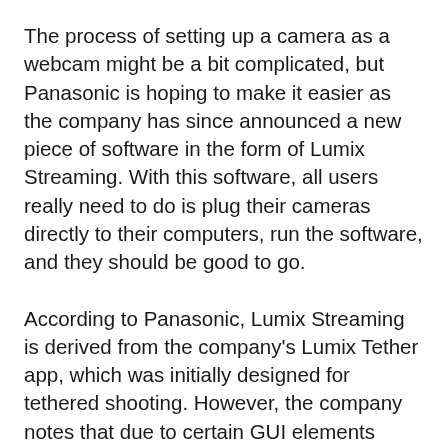The process of setting up a camera as a webcam might be a bit complicated, but Panasonic is hoping to make it easier as the company has since announced a new piece of software in the form of Lumix Streaming. With this software, all users really need to do is plug their cameras directly to their computers, run the software, and they should be good to go.
According to Panasonic, Lumix Streaming is derived from the company's Lumix Tether app, which was initially designed for tethered shooting. However, the company notes that due to certain GUI elements being present on the screen, it didn't exactly make it a very ideal piece of software for webcam or streaming, and thus the spin-off Lumix Streaming app was born.